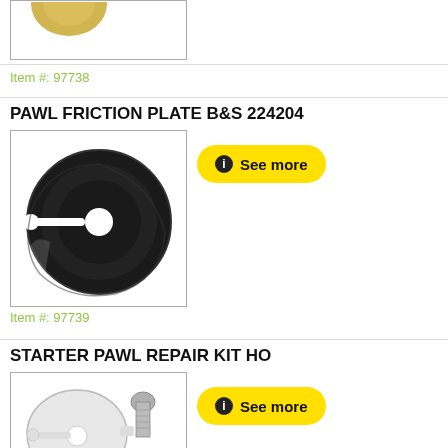[Figure (photo): Top of previous product image, partial view of a golden/brass colored small part on white background]
Item #: 97738
PAWL FRICTION PLATE B&S 224204
[Figure (photo): Black circular friction plate with white center hole and arm extending to left, on white background]
Item #: 97739
STARTER PAWL REPAIR KIT HO
[Figure (photo): White plastic starter pawl repair kit parts including disc with center hole and metal bolt and ring, on white background]